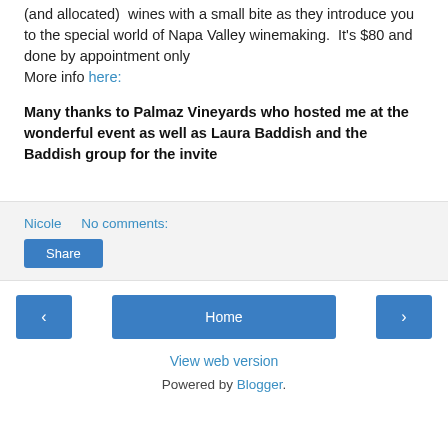(and allocated)  wines with a small bite as they introduce you to the special world of Napa Valley winemaking.  It's $80 and done by appointment only
More info here:
Many thanks to Palmaz Vineyards who hosted me at the wonderful event as well as Laura Baddish and the Baddish group for the invite
Nicole   No comments:
Share
‹   Home   ›
View web version
Powered by Blogger.